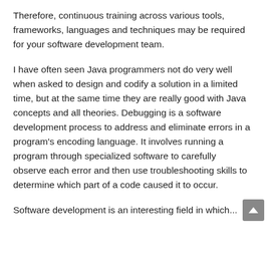Therefore, continuous training across various tools, frameworks, languages and techniques may be required for your software development team.
I have often seen Java programmers not do very well when asked to design and codify a solution in a limited time, but at the same time they are really good with Java concepts and all theories. Debugging is a software development process to address and eliminate errors in a program's encoding language. It involves running a program through specialized software to carefully observe each error and then use troubleshooting skills to determine which part of a code caused it to occur.
Software development is an interesting field in which...